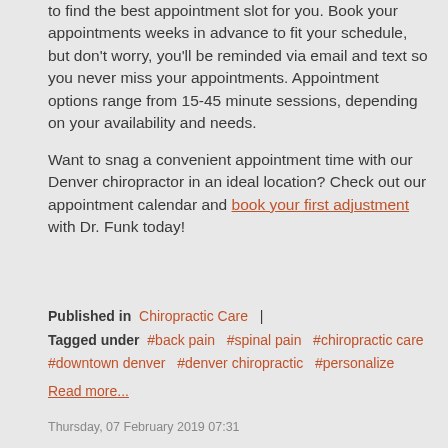Our online booking feature allows our clients to find the best appointment slot for you. Book your appointments weeks in advance to fit your schedule, but don't worry, you'll be reminded via email and text so you never miss your appointments. Appointment options range from 15-45 minute sessions, depending on your availability and needs.

Want to snag a convenient appointment time with our Denver chiropractor in an ideal location? Check out our appointment calendar and book your first adjustment with Dr. Funk today!
Published in Chiropractic Care | Tagged under #back pain #spinal pain #chiropractic care #downtown denver #denver chiropractic #personalize
Read more...
Thursday, 07 February 2019 07:31